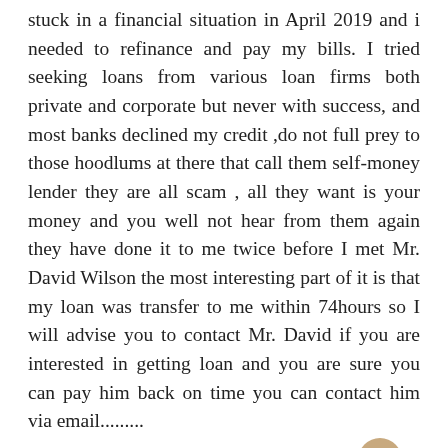stuck in a financial situation in April 2019 and i needed to refinance and pay my bills. I tried seeking loans from various loan firms both private and corporate but never with success, and most banks declined my credit ,do not full prey to those hoodlums at there that call them self-money lender they are all scam , all they want is your money and you well not hear from them again they have done it to me twice before I met Mr. David Wilson the most interesting part of it is that my loan was transfer to me within 74hours so I will advise you to contact Mr. David if you are interested in getting loan and you are sure you can pay him back on time you can contact him via email......... (davidwilsonloancompany4@gmail.com) No credit check, no cosigner with just 2% interest rate and better repayment plans and schedule if